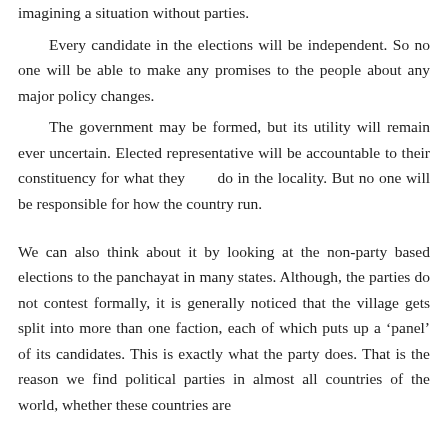imagining a situation without parties. Every candidate in the elections will be independent. So no one will be able to make any promises to the people about any major policy changes. The government may be formed, but its utility will remain ever uncertain. Elected representative will be accountable to their constituency for what they     do in the locality. But no one will be responsible for how the country run. We can also think about it by looking at the non-party based elections to the panchayat in many states. Although, the parties do not contest formally, it is generally noticed that the village gets split into more than one faction, each of which puts up a ‘panel’ of its candidates. This is exactly what the party does. That is the reason we find political parties in almost all countries of the world, whether these countries are